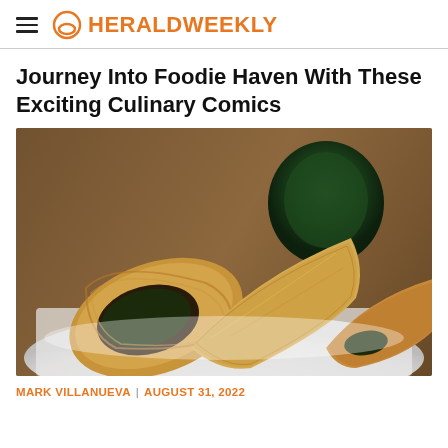HERALDWEEKLY
Journey Into Foodie Haven With These Exciting Culinary Comics
[Figure (photo): Phyllo pastry triangles cut open showing spinach filling, served on a white plate with a dark green vegetable in the background on a wooden surface]
MARK VILLANUEVA | AUGUST 31, 2022